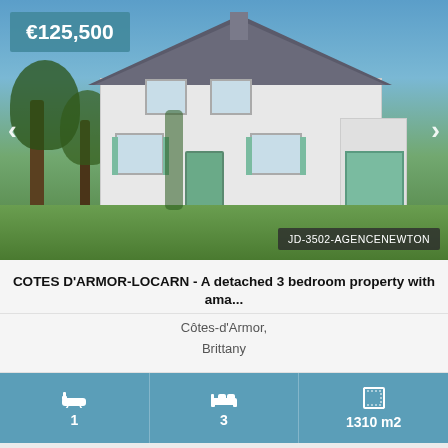[Figure (photo): Detached white house with grey roof, green shutters, ivy on walls, surrounded by trees and garden, blue sky background. Price badge shows €125,500 top-left. Navigation arrows on sides. Watermark: JD-3502-AGENCENEWTON bottom-right.]
COTES D'ARMOR-LOCARN - A detached 3 bedroom property with ama...
Côtes-d'Armor,
Brittany
1
3
1310 m2
[Figure (photo): Partial view of another property listing showing blue sky with clouds and a rooftop. Price badge shows €85,200 top-left.]